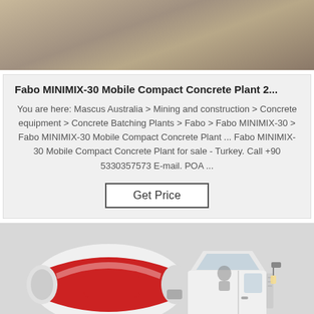[Figure (photo): Partial photo of concrete plant or construction equipment, close-up brown/tan surface texture, cropped at top.]
Fabo MINIMIX-30 Mobile Compact Concrete Plant 2...
You are here: Mascus Australia > Mining and construction > Concrete equipment > Concrete Batching Plants > Fabo > Fabo MINIMIX-30 > Fabo MINIMIX-30 Mobile Compact Concrete Plant ... Fabo MINIMIX-30 Mobile Compact Concrete Plant for sale - Turkey. Call +90 5330357573 E-mail. POA ...
Get Price
[Figure (photo): Photo of a white and red concrete mixer truck (transit mixer), shown from the side with drum and cab visible, on light grey background.]